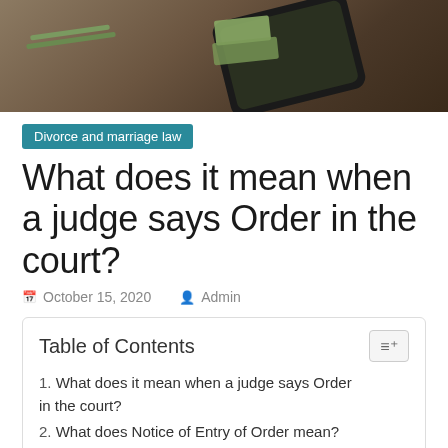[Figure (photo): Photo of a smartphone on a wooden surface with money bills visible, viewed from above]
Divorce and marriage law
What does it mean when a judge says Order in the court?
October 15, 2020   Admin
Table of Contents
1. What does it mean when a judge says Order in the court?
2. What does Notice of Entry of Order mean?
3. What is a entry of Judgement?
4. What is the difference between Judgement and order?